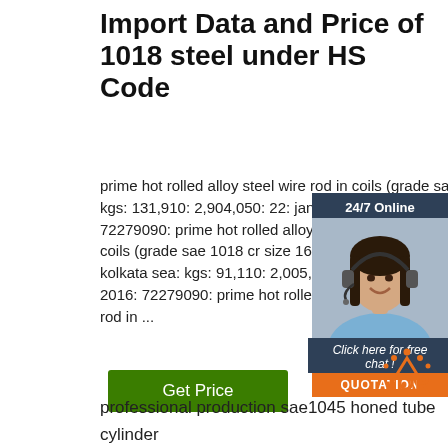Import Data and Price of 1018 steel under HS Code
prime hot rolled alloy steel wire rod in coils (grade sae 1018 cr size 16.00mm) china: kolkata kgs: 131,910: 2,904,050: 22: jan 21 2016: 72279090: prime hot rolled alloy steel wire rod in coils (grade sae 1018 cr size 16.00mm) kolkata sea: kgs: 91,110: 2,005,822: 22: 2016: 72279090: prime hot rolled alloy steel rod in ...
[Figure (illustration): Chat widget with woman wearing headset, showing 24/7 Online label, Click here for free chat! text, and QUOTATION button in orange]
Get Price
[Figure (logo): TOP logo in orange with dots above forming an arc]
professional production sae1045 honed tube cylinder